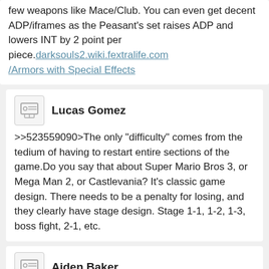few weapons like Mace/Club. You can even get decent ADP/iframes as the Peasant's set raises ADP and lowers INT by 2 point per piece. darksouls2.wiki.fextralife.com/Armors with Special Effects
Lucas Gomez
>>523559090>The only "difficulty" comes from the tedium of having to restart entire sections of the game.Do you say that about Super Mario Bros 3, or Mega Man 2, or Castlevania? It's classic game design. There needs to be a penalty for losing, and they clearly have stage design. Stage 1-1, 1-2, 1-3, boss fight, 2-1, etc.
Aiden Baker
>>523527075The hidden bonfire isn't even needed, you're supposed to get the key and unlock the elevator and that goes from the start of Sen's to the boss fog. Get fucking filtered by easy as fuck to backstab Snakemen.